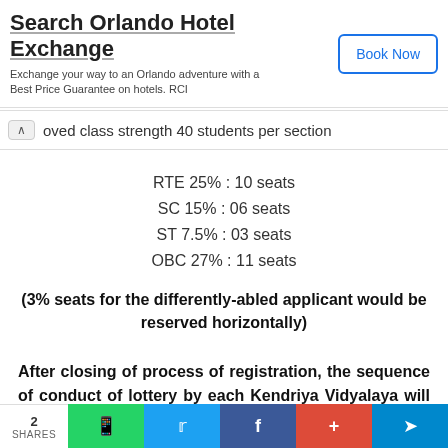[Figure (screenshot): Advertisement banner for Search Orlando Hotel Exchange with Book Now button]
oved class strength 40 students per section
RTE 25% : 10 seats
SC 15% : 06 seats
ST 7.5% : 03 seats
OBC 27% : 11 seats
(3% seats for the differently-abled applicant would be reserved horizontally)
After closing of process of registration, the sequence of conduct of lottery by each Kendriya Vidyalaya will be as under